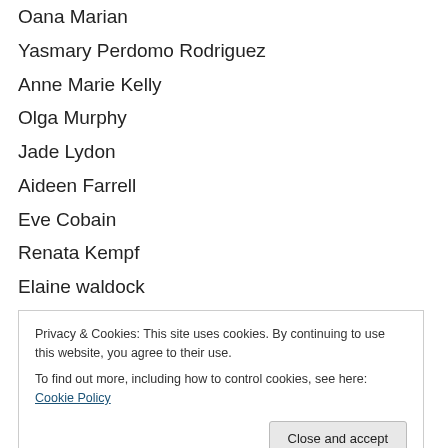Oana Marian
Yasmary Perdomo Rodriguez
Anne Marie Kelly
Olga Murphy
Jade Lydon
Aideen Farrell
Eve Cobain
Renata Kempf
Elaine waldock
Kelly Doolin
Avril Corroon
Privacy & Cookies: This site uses cookies. By continuing to use this website, you agree to their use. To find out more, including how to control cookies, see here: Cookie Policy
v cenza Cirence